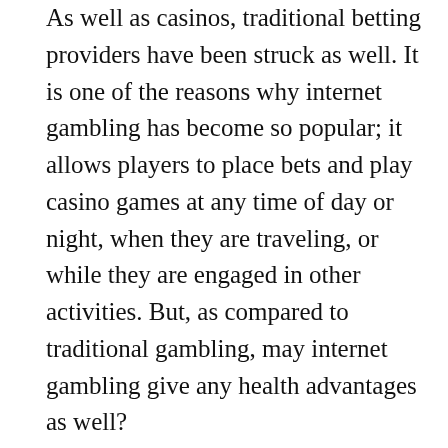As well as casinos, traditional betting providers have been struck as well. It is one of the reasons why internet gambling has become so popular; it allows players to place bets and play casino games at any time of day or night, when they are traveling, or while they are engaged in other activities. But, as compared to traditional gambling, may internet gambling give any health advantages as well?
LATEST VIDEOS
[Figure (screenshot): Video player thumbnail with dark background and white play button arrow icon, with an advertisement banner at the bottom showing 'Clover-Live Stream Dating' with a colorful clover logo and a 'Download' link]